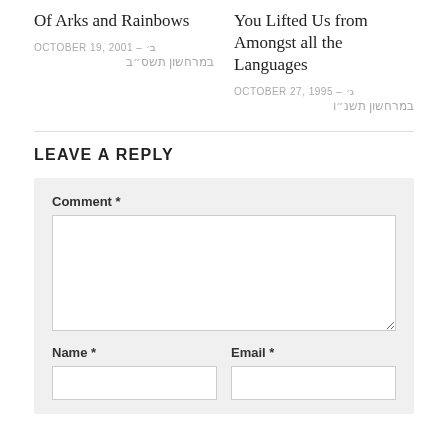Of Arks and Rainbows
OCTOBER 19, 2001 – ב׳ במרחשון תשס״ב
You Lifted Us from Amongst all the Languages
OCTOBER 27, 1995 – ג׳ במרחשון תשנ״ו
LEAVE A REPLY
Comment *
Name *
Email *